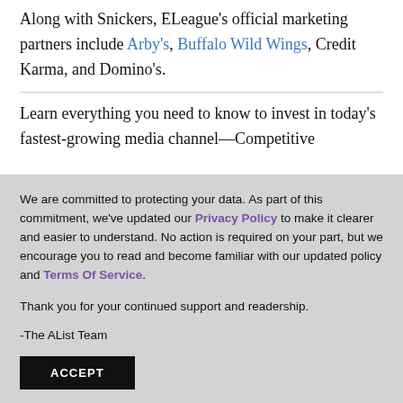Along with Snickers, ELeague's official marketing partners include Arby's, Buffalo Wild Wings, Credit Karma, and Domino's.
Learn everything you need to know to invest in today's fastest-growing media channel—Competitive
We are committed to protecting your data. As part of this commitment, we've updated our Privacy Policy to make it clearer and easier to understand. No action is required on your part, but we encourage you to read and become familiar with our updated policy and Terms Of Service.
Thank you for your continued support and readership.
-The AList Team
ACCEPT